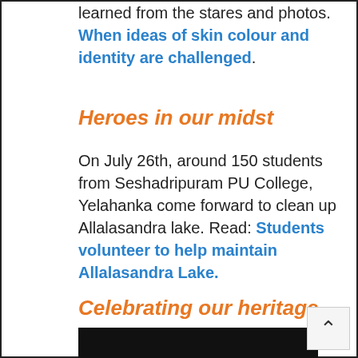learned from the stares and photos. When ideas of skin colour and identity are challenged.
Heroes in our midst
On July 26th, around 150 students from Seshadripuram PU College, Yelahanka come forward to clean up Allalasandra lake. Read: Students volunteer to help maintain Allalasandra Lake.
Celebrating our heritage
[Figure (photo): Dark/black image, partially visible at bottom of page]